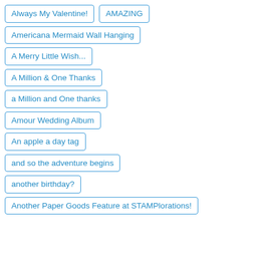Always My Valentine!
AMAZING
Americana Mermaid Wall Hanging
A Merry Little Wish...
A Million & One Thanks
a Million and One thanks
Amour Wedding Album
An apple a day tag
and so the adventure begins
another birthday?
Another Paper Goods Feature at STAMPlorations!